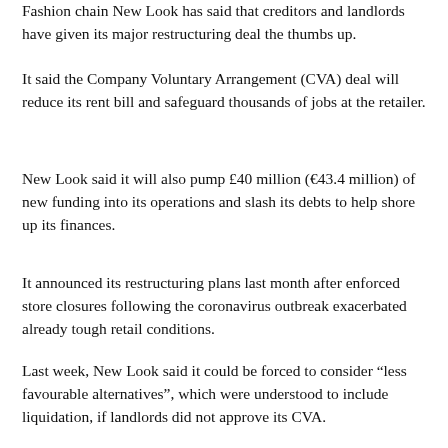Fashion chain New Look has said that creditors and landlords have given its major restructuring deal the thumbs up.
It said the Company Voluntary Arrangement (CVA) deal will reduce its rent bill and safeguard thousands of jobs at the retailer.
New Look said it will also pump £40 million (€43.4 million) of new funding into its operations and slash its debts to help shore up its finances.
It announced its restructuring plans last month after enforced store closures following the coronavirus outbreak exacerbated already tough retail conditions.
Last week, New Look said it could be forced to consider “less favourable alternatives”, which were understood to include liquidation, if landlords did not approve its CVA.